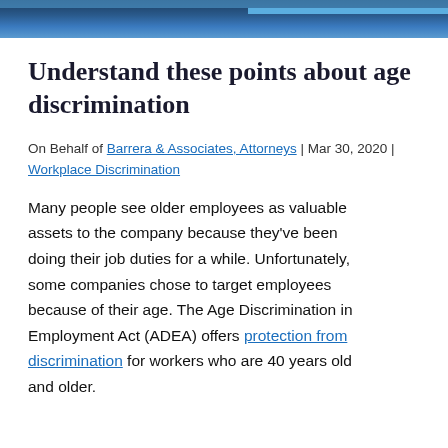[Figure (photo): Website header image showing a building or courthouse in blue tones]
Understand these points about age discrimination
On Behalf of Barrera & Associates, Attorneys | Mar 30, 2020 | Workplace Discrimination
Many people see older employees as valuable assets to the company because they've been doing their job duties for a while. Unfortunately, some companies chose to target employees because of their age. The Age Discrimination in Employment Act (ADEA) offers protection from discrimination for workers who are 40 years old and older.